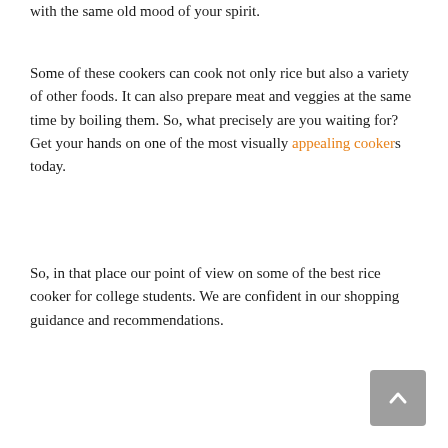with the same old mood of your spirit.
Some of these cookers can cook not only rice but also a variety of other foods. It can also prepare meat and veggies at the same time by boiling them. So, what precisely are you waiting for? Get your hands on one of the most visually appealing cookers today.
So, in that place our point of view on some of the best rice cooker for college students. We are confident in our shopping guidance and recommendations.